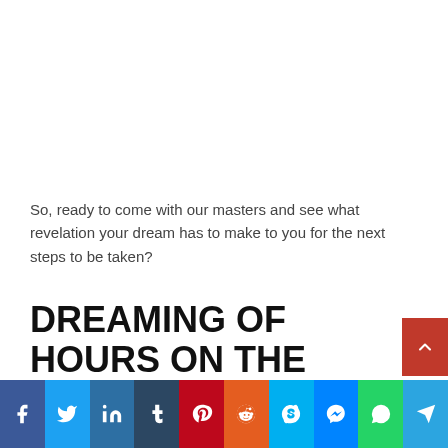So, ready to come with our masters and see what revelation your dream has to make to you for the next steps to be taken?
DREAMING OF HOURS ON THE CLOCK
[Figure (other): Social media share buttons bar at bottom: Facebook (blue), Twitter (light blue), LinkedIn (dark blue), Tumblr (dark navy), Pinterest (red), Reddit (orange-red), Skype (light blue), Messenger (blue), WhatsApp (green), Telegram (blue)]